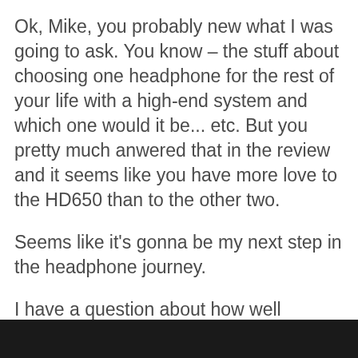Ok, Mike, you probably new what I was going to ask. You know – the stuff about choosing one headphone for the rest of your life with a high-end system and which one would it be... etc. But you pretty much anwered that in the review and it seems like you have more love to the HD650 than to the other two.
Seems like it's gonna be my next step in the headphone journey.
I have a question about how well balanced beta22 (you got it balanced, right?) worked. People often say that HD650 benefit really a lot from a fully balanced setup. What I would like to know is whether you think that having ~ $2500 fo[CLOSE]h-